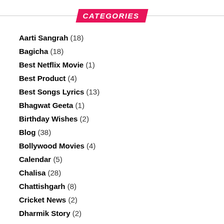CATEGORIES
Aarti Sangrah (18)
Bagicha (18)
Best Netflix Movie (1)
Best Product (4)
Best Songs Lyrics (13)
Bhagwat Geeta (1)
Birthday Wishes (2)
Blog (38)
Bollywood Movies (4)
Calendar (5)
Chalisa (28)
Chattishgarh (8)
Cricket News (2)
Dharmik Story (2)
Dream Meaning (1)
Full Form (23)